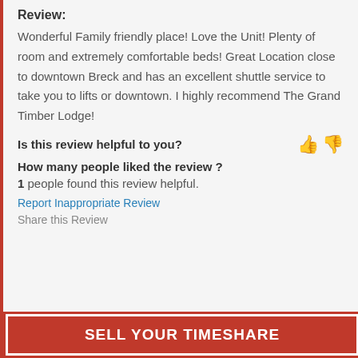Review:
Wonderful Family friendly place! Love the Unit! Plenty of room and extremely comfortable beds! Great Location close to downtown Breck and has an excellent shuttle service to take you to lifts or downtown. I highly recommend The Grand Timber Lodge!
Is this review helpful to you?
How many people liked the review ?
1 people found this review helpful.
Report Inappropriate Review
Share this Review
SELL YOUR TIMESHARE